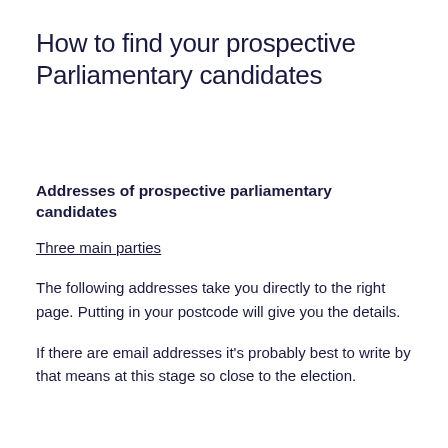How to find your prospective Parliamentary candidates
Addresses of prospective parliamentary candidates
Three main parties
The following addresses take you directly to the right page. Putting in your postcode will give you the details.
If there are email addresses it's probably best to write by that means at this stage so close to the election.